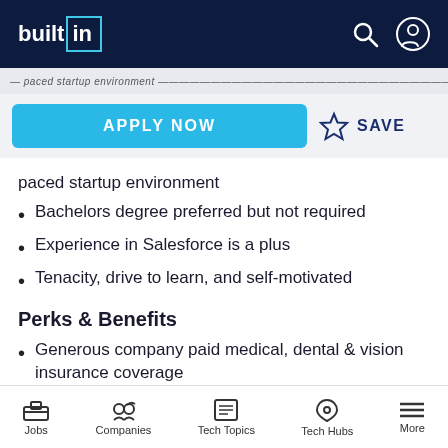builtin
paced startup environment
Bachelors degree preferred but not required
Experience in Salesforce is a plus
Tenacity, drive to learn, and self-motivated
Perks & Benefits
Generous company paid medical, dental & vision insurance coverage
Unlimited paid time off & 11 companywide paid holidays
Jobs  Companies  Tech Topics  Tech Hubs  More